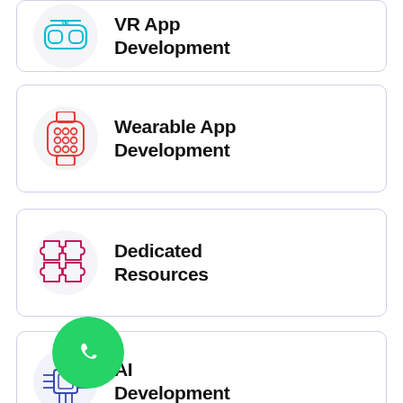[Figure (illustration): VR App Development card (partially visible at top) with VR headset icon]
VR App
Development
[Figure (illustration): Wearable App Development card with smartwatch icon in red/pink]
Wearable App Development
[Figure (illustration): Dedicated Resources card with puzzle pieces icon in magenta/purple]
Dedicated Resources
[Figure (illustration): AI Development card with circuit/AI chip icon in dark blue]
AI Development
[Figure (illustration): WhatsApp floating button (green circle with phone icon)]
[Figure (illustration): Internet of Things card (partially visible at bottom) with cloud icon in orange/red]
Internet of